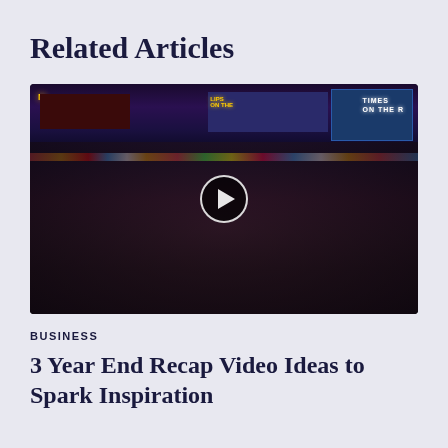Related Articles
[Figure (photo): A large crowd of people celebrating in Times Square at night, with bright neon billboard advertisements visible in the background. A video play button overlay is centered on the image.]
BUSINESS
3 Year End Recap Video Ideas to Spark Inspiration